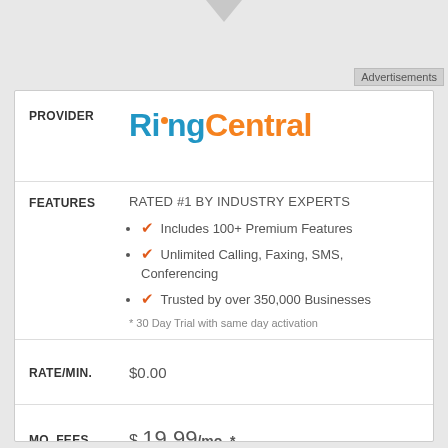Advertisements
PROVIDER
[Figure (logo): RingCentral logo with blue 'Ring' and orange 'Central' text]
FEATURES
RATED #1 BY INDUSTRY EXPERTS
Includes 100+ Premium Features
Unlimited Calling, Faxing, SMS, Conferencing
Trusted by over 350,000 Businesses
* 30 Day Trial with same day activation
RATE/MIN.
$0.00
MO. FEES
$ 19.99 /mo. *
DETAILS
142 reviews